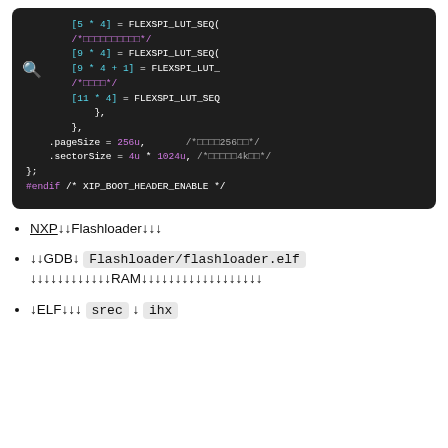[Figure (screenshot): Dark-themed code editor screenshot showing C code with FLEXSPI_LUT_SEQ array assignments, .pageSize and .sectorSize fields, closing braces, and #endif directive. Code uses cyan for bracket indices, magenta for numeric values, and white for identifiers.]
↓NXP↓↓Flashloader↓↓↓
↓↓GDB↓  Flashloader/flashloader.elf  ↓↓↓↓↓↓↓↓↓↓↓↓RAM↓↓↓↓↓↓↓↓↓↓↓↓↓↓↓↓↓↓↓
↓ELF↓↓↓  srec  ↓  ihx